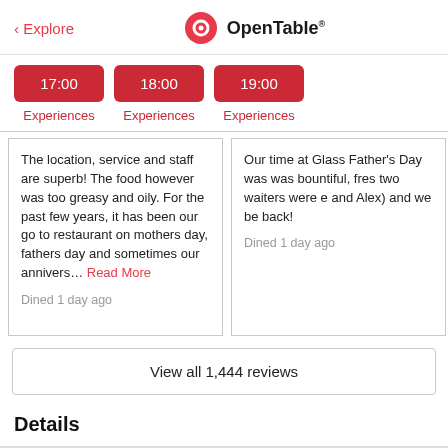< Explore   OpenTable
17:00  18:00  19:00
Experiences  Experiences  Experiences
The location, service and staff are superb! The food however was too greasy and oily. For the past few years, it has been our go to restaurant on mothers day, fathers day and sometimes our annivers... Read More
Dined 1 day ago
Our time at Glass Father's Day was was bountiful, fres two waiters were e and Alex) and we be back!
Dined 1 day ago
View all 1,444 reviews
Details